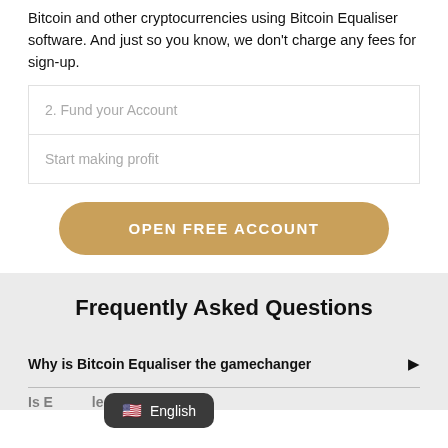Bitcoin and other cryptocurrencies using Bitcoin Equaliser software. And just so you know, we don't charge any fees for sign-up.
2. Fund your Account
Start making profit
OPEN FREE ACCOUNT
Frequently Asked Questions
Why is Bitcoin Equaliser the gamechanger
English